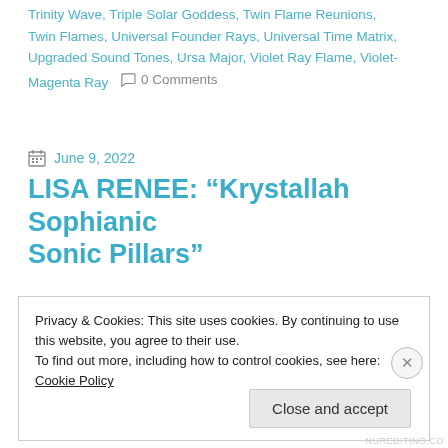Trinity Wave, Triple Solar Goddess, Twin Flame Reunions, Twin Flames, Universal Founder Rays, Universal Time Matrix, Upgraded Sound Tones, Ursa Major, Violet Ray Flame, Violet-Magenta Ray   0 Comments
June 9, 2022
LISA RENEE: “Krystallah Sophianic Sonic Pillars”
Privacy & Cookies: This site uses cookies. By continuing to use this website, you agree to their use.
To find out more, including how to control cookies, see here: Cookie Policy
Close and accept